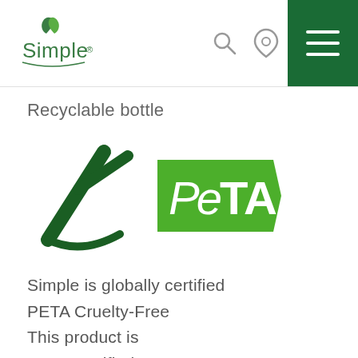[Figure (logo): Simple brand logo with green leaf icon and text 'Simple' in green]
[Figure (other): Navigation icons: search magnifying glass and location pin, plus green hamburger menu button]
Recyclable bottle
[Figure (logo): Two logos side by side: a dark green stylized leaf/check mark logo on the left and the PETA logo in green on the right]
Simple is globally certified PETA Cruelty-Free This product is PETA certified vegan